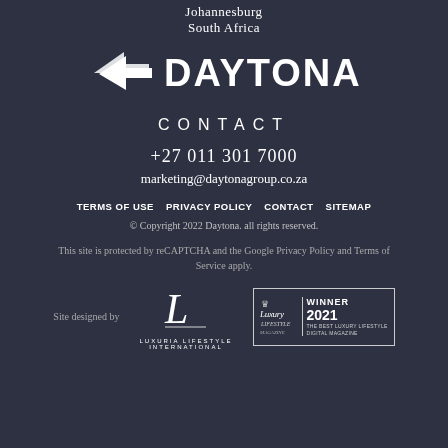Johannesburg
South Africa
[Figure (logo): Daytona logo — white shield/arrow icon followed by bold white DAYTONA text on dark background]
CONTACT
+27 011 301 7000
marketing@daytonagroup.co.za
TERMS OF USE   PRIVACY POLICY   CONTACT   SITEMAP
© Copyright 2022 Daytona. all rights reserved.
This site is protected by reCAPTCHA and the Google Privacy Policy and Terms of Service apply.
Site designed by
[Figure (logo): Luxuria Lifestyle International logo — stylized L letterform with LUXURIA LIFESTYLE INTERNATIONAL text beneath]
[Figure (logo): Luxury Lifestyle Magazine Winner 2021 — The Best Luxury Lifestyle Digital Magazine badge with crown icon]